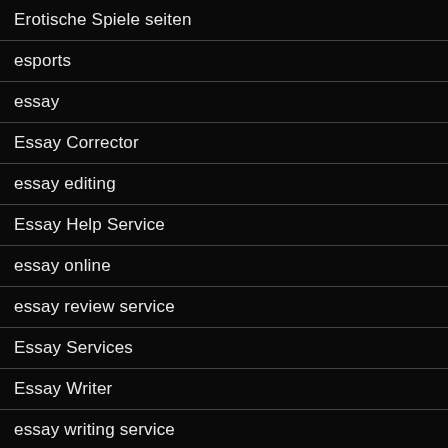Erotische Spiele seiten
esports
essay
Essay Corrector
essay editing
Essay Help Service
essay online
essay review service
Essay Services
Essay Writer
essay writing service
essay writing services
EssayNews